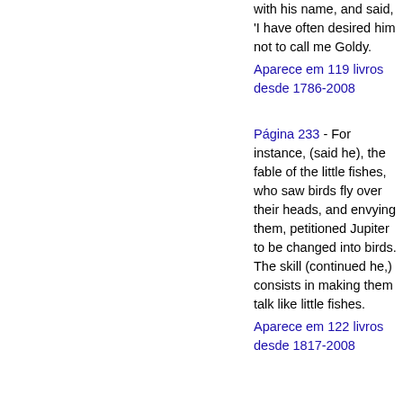with his name, and said, 'I have often desired him not to call me Goldy.
Aparece em 119 livros desde 1786-2008
Página 233 - For instance, (said he), the fable of the little fishes, who saw birds fly over their heads, and envying them, petitioned Jupiter to be changed into birds. The skill (continued he,) consists in making them talk like little fishes.
Aparece em 122 livros desde 1817-2008
Informação bibliográfica